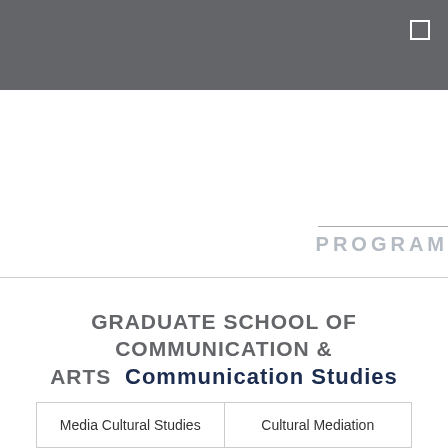PROGRAM
GRADUATE SCHOOL OF COMMUNICATION & ARTS  Communication Studies
| Media Cultural Studies | Cultural Mediation |
| --- | --- |